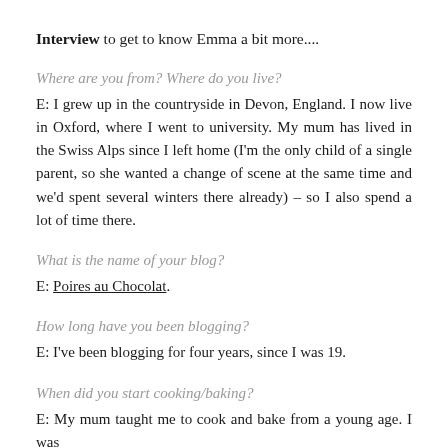Interview to get to know Emma a bit more....
Where are you from? Where do you live?
E: I grew up in the countryside in Devon, England. I now live in Oxford, where I went to university. My mum has lived in the Swiss Alps since I left home (I'm the only child of a single parent, so she wanted a change of scene at the same time and we'd spent several winters there already) – so I also spend a lot of time there.
What is the name of your blog?
E: Poires au Chocolat.
How long have you been blogging?
E: I've been blogging for four years, since I was 19.
When did you start cooking/baking?
E: My mum taught me to cook and bake from a young age. I was